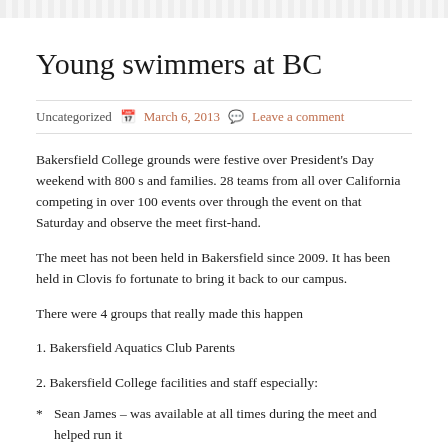Young swimmers at BC
Uncategorized   March 6, 2013   Leave a comment
Bakersfield College grounds were festive over President's Day weekend with 800 s and families. 28 teams from all over California competing in over 100 events over through the event on that Saturday and observe the meet first-hand.
The meet has not been held in Bakersfield since 2009. It has been held in Clovis fo fortunate to bring it back to our campus.
There were 4 groups that really made this happen
1. Bakersfield Aquatics Club Parents
2. Bakersfield College facilities and staff especially:
* Sean James – was available at all times during the meet and helped run it
* Don Birdwell – helped Charlie get the pool up and ready